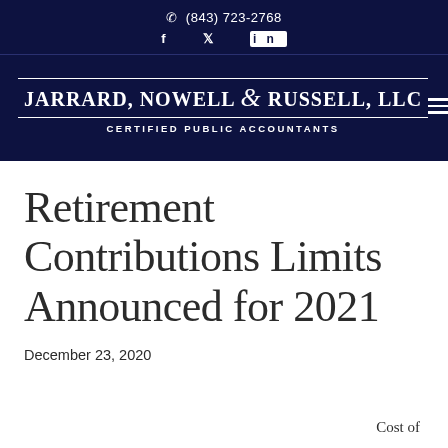(843) 723-2768
Jarrard, Nowell & Russell, LLC — Certified Public Accountants
Retirement Contributions Limits Announced for 2021
December 23, 2020
Cost of